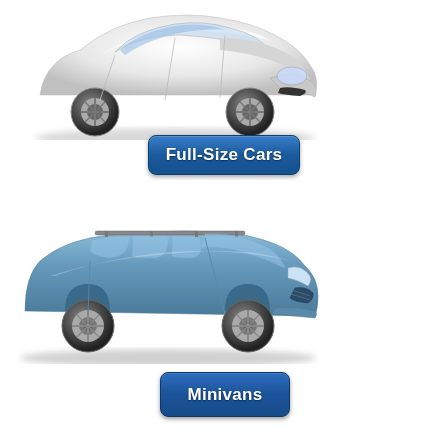[Figure (photo): White full-size sedan car (Hyundai Sonata or similar) viewed from front-left angle, partially cropped at top]
[Figure (illustration): Dark blue rounded rectangle button with white bold text reading 'Full-Size Cars']
[Figure (photo): Blue minivan (Kia Sedona or similar) viewed from front-left angle with roof rails]
[Figure (illustration): Dark blue rounded rectangle button with white bold text reading 'Minivans']